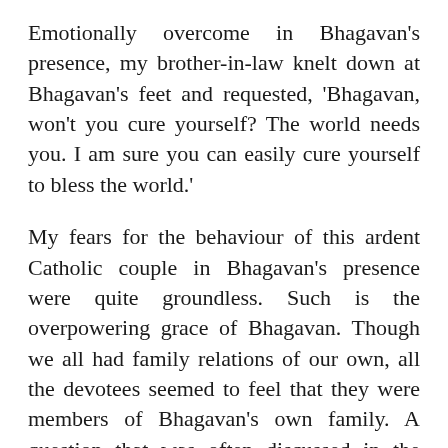Emotionally overcome in Bhagavan's presence, my brother-in-law knelt down at Bhagavan's feet and requested, 'Bhagavan, won't you cure yourself? The world needs you. I am sure you can easily cure yourself to bless the world.'
My fears for the behaviour of this ardent Catholic couple in Bhagavan's presence were quite groundless. Such is the overpowering grace of Bhagavan. Though we all had family relations of our own, all the devotees seemed to feel that they were members of Bhagavan's own family. A question that was often discussed in the ashram, among visitors and residents, was who constituted Bhagavan's family: blood relations or others. To these questions Bhagavan never gave any answer. …